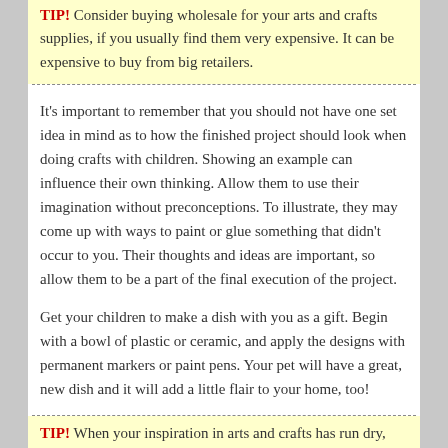TIP! Consider buying wholesale for your arts and crafts supplies, if you usually find them very expensive. It can be expensive to buy from big retailers.
It's important to remember that you should not have one set idea in mind as to how the finished project should look when doing crafts with children. Showing an example can influence their own thinking. Allow them to use their imagination without preconceptions. To illustrate, they may come up with ways to paint or glue something that didn't occur to you. Their thoughts and ideas are important, so allow them to be a part of the final execution of the project.
Get your children to make a dish with you as a gift. Begin with a bowl of plastic or ceramic, and apply the designs with permanent markers or paint pens. Your pet will have a great, new dish and it will add a little flair to your home, too!
TIP! When your inspiration in arts and crafts has run dry, consider